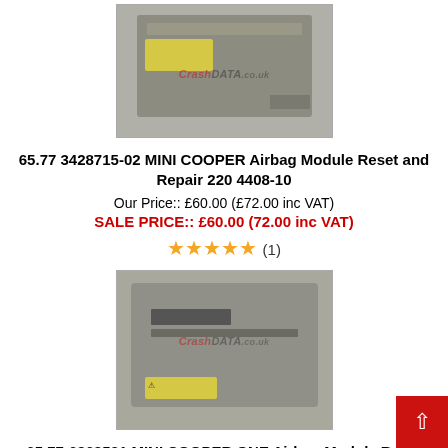[Figure (photo): Airbag module ECU unit with yellow label, CrashData.co.uk watermark visible]
65.77 3428715-02 MINI COOPER Airbag Module Reset and Repair 220 4408-10
Our Price:: £60.00 (£72.00 inc VAT)
SALE PRICE:: £60.00 (72.00 inc VAT)
★★★★★ (1)
[Figure (photo): Second airbag module ECU unit with yellow warning label, CrashData.co.uk watermark visible]
65.77-6962531 MINI COOPER ONE Airbag Module Reset And Repair 0 285 001 682